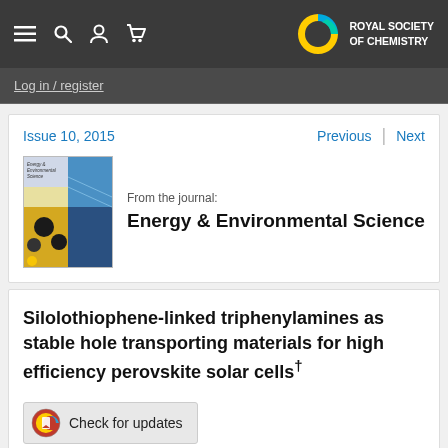Royal Society of Chemistry navigation bar with menu, search, account, cart icons and RSC logo
Log in / register
Issue 10, 2015
Previous | Next
[Figure (photo): Energy & Environmental Science journal cover image showing colorful illustrated chemistry artwork]
From the journal:
Energy & Environmental Science
Silolothiophene-linked triphenylamines as stable hole transporting materials for high efficiency perovskite solar cells†
Check for updates